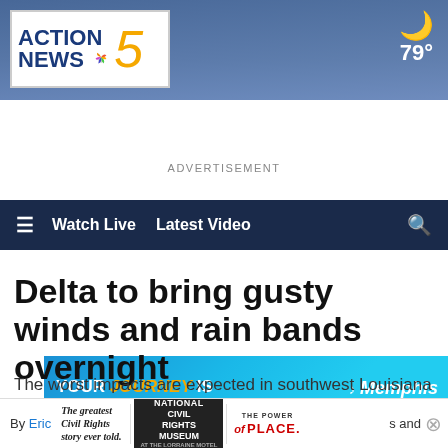[Figure (logo): Action News 5 NBC affiliate logo with city skyline header banner, moon icon and 79° temperature display]
≡  Watch Live   Latest Video   🔍
ADVERTISEMENT
[Figure (screenshot): Memphis International Airport advertisement banner: YOUR JOURNEY IS JUST BEGINNING — Memphis International Airport logo]
Delta to bring gusty winds and rain bands overnight
The worst impacts are expected in southwest Louisiana
By Eric [link] and Carrie [link]
[Figure (screenshot): Bottom overlay ad: The greatest Civil Rights story ever told. National Civil Rights Museum at The Lorraine Motel — The Power of Place.]